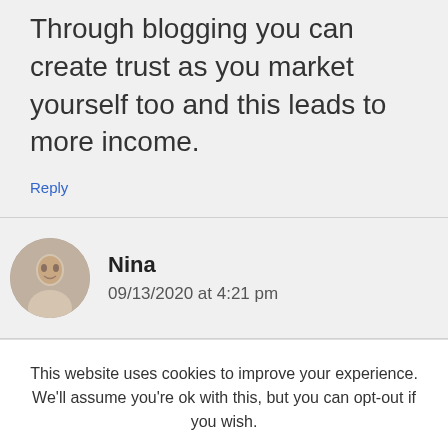Through blogging you can create trust as you market yourself too and this leads to more income.
Reply
Nina
09/13/2020 at 4:21 pm
This website uses cookies to improve your experience. We'll assume you're ok with this, but you can opt-out if you wish.
Cookie settings
ACCEPT